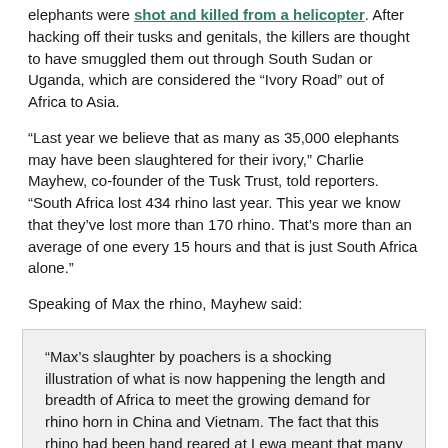elephants were shot and killed from a helicopter. After hacking off their tusks and genitals, the killers are thought to have smuggled them out through South Sudan or Uganda, which are considered the “Ivory Road” out of Africa to Asia.
“Last year we believe that as many as 35,000 elephants may have been slaughtered for their ivory,” Charlie Mayhew, co-founder of the Tusk Trust, told reporters. “South Africa lost 434 rhino last year. This year we know that they’ve lost more than 170 rhino. That’s more than an average of one every 15 hours and that is just South Africa alone.”
Speaking of Max the rhino, Mayhew said:
“Max’s slaughter by poachers is a shocking illustration of what is now happening the length and breadth of Africa to meet the growing demand for rhino horn in China and Vietnam. The fact that this rhino had been hand reared at Lewa meant that many visitors to Lewa including our Royal Patron had the opportunity to get extremely close to him. It of course makes it all the more shocking and sad when you know the individual